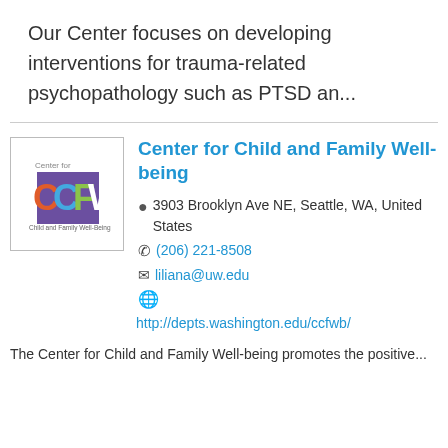Our Center focuses on developing interventions for trauma-related psychopathology such as PTSD an...
[Figure (logo): CCFW - Center for Child and Family Well-Being logo with purple square and colorful letters]
Center for Child and Family Well-being
3903 Brooklyn Ave NE, Seattle, WA, United States
(206) 221-8508
liliana@uw.edu
http://depts.washington.edu/ccfwb/
The Center for Child and Family Well-being promotes the positive...